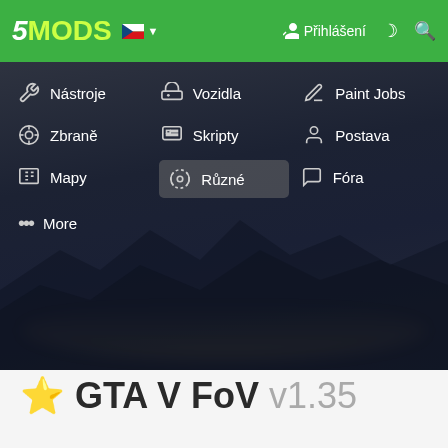[Figure (screenshot): 5MODS website header with green navbar showing logo, Czech flag, login button, moon icon, and search icon]
[Figure (screenshot): Navigation dropdown menu over dark GTA V city background with menu items: Nástroje, Vozidla, Paint Jobs, Zbraně, Skripty, Postava, Mapy, Různé (highlighted), Fóra, More]
⭐ GTA V FoV v1.35